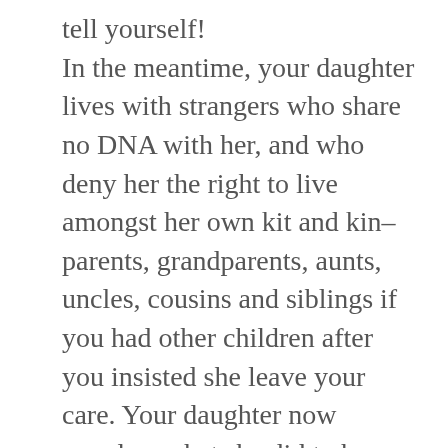tell yourself! In the meantime, your daughter lives with strangers who share no DNA with her, and who deny her the right to live amongst her own kit and kin–parents, grandparents, aunts, uncles, cousins and siblings if you had other children after you insisted she leave your care. Your daughter now wonders what she did to be shoved out of the family that is hers … and why she wasn't wanted. And every woman she meets she asks –if only silently –are you my mother? There are far worse things in life than impoverishment Ms. Braun! You and too many